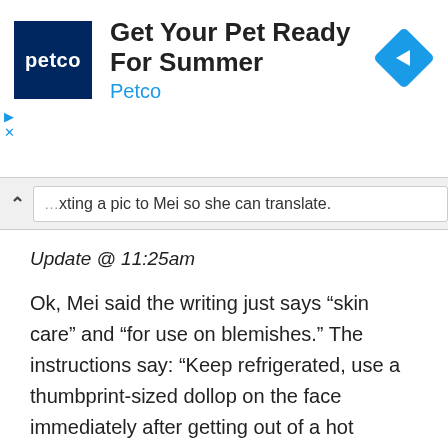[Figure (screenshot): Petco advertisement banner with blue logo square reading 'petco', headline 'Get Your Pet Ready For Summer', subtitle 'Petco' in blue, and a blue diamond navigation icon on the right.]
...xting a pic to Mei so she can translate.
Update @ 11:25am
Ok, Mei said the writing just says “skin care” and “for use on blemishes.” The instructions say: “Keep refrigerated, use a thumbprint-sized dollop on the face immediately after getting out of a hot shower, let sit for a half hour, then rinse off with warm water. For best results, use twice a day for one week. Mild swelling may occur, but it is normal. If severe peeling occurs,